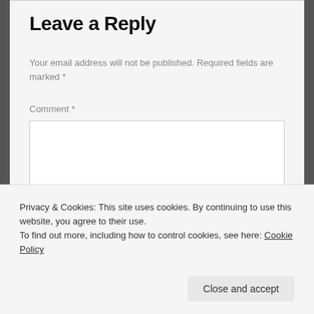Leave a Reply
Your email address will not be published. Required fields are marked *
Comment *
[Figure (screenshot): Empty comment text area input box]
Privacy & Cookies: This site uses cookies. By continuing to use this website, you agree to their use.
To find out more, including how to control cookies, see here: Cookie Policy
Close and accept